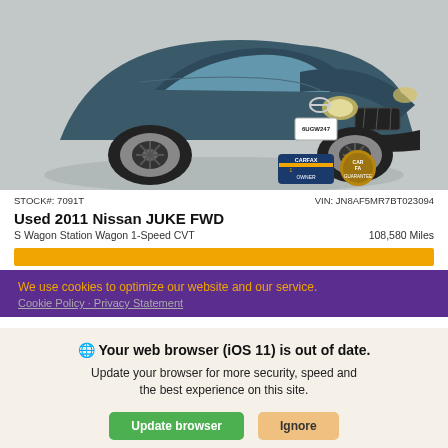[Figure (photo): Front three-quarter view of a dark blue/teal 2011 Nissan JUKE FWD SUV on a showroom floor. License plate reads 6UGW247. CARFAX 1 Owner and CARFAX Guarantee badges visible in lower right corner.]
STOCK#: 7091T    VIN: JN8AF5MR7BT023094
Used 2011 Nissan JUKE FWD
S Wagon Station Wagon 1-Speed CVT    108,580 Miles
We use cookies to optimize our website and our service.
Cookie Policy · Privacy Statement
Your web browser (iOS 11) is out of date.
Update your browser for more security, speed and the best experience on this site.
Update browser    Ignore